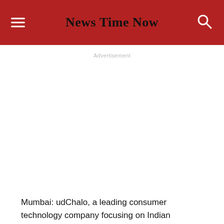News Time Now
Advertisement
Mumbai: udChalo, a leading consumer technology company focusing on Indian Defence Personnel and their dependents, has announced the appointment of Abani Kant Jha as its